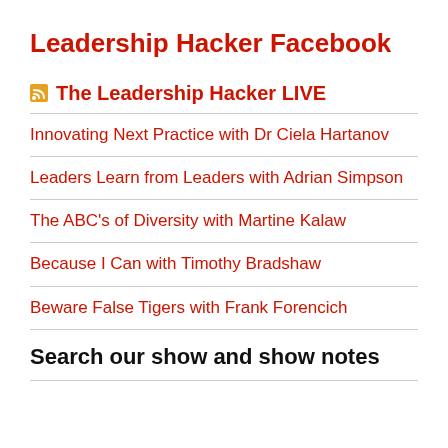Leadership Hacker Facebook
The Leadership Hacker LIVE
Innovating Next Practice with Dr Ciela Hartanov
Leaders Learn from Leaders with Adrian Simpson
The ABC's of Diversity with Martine Kalaw
Because I Can with Timothy Bradshaw
Beware False Tigers with Frank Forencich
Search our show and show notes